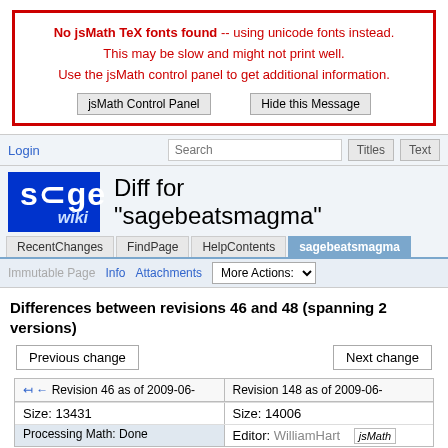No jsMath TeX fonts found -- using unicode fonts instead. This may be slow and might not print well. Use the jsMath control panel to get additional information.
jsMath Control Panel | Hide this Message
Login
Search | Titles | Text
Diff for "sagebeatsmagma"
RecentChanges | FindPage | HelpContents | sagebeatsmagma
Immutable Page  Info  Attachments  More Actions:
Differences between revisions 46 and 48 (spanning 2 versions)
Previous change | Next change
| Revision 46 as of 2009-06-... | Revision 48 as of 2009-06-... |
| --- | --- |
| Size: 13431 | Size: 14006 |
| Processing Math: Done | Editor: WilliamHart |